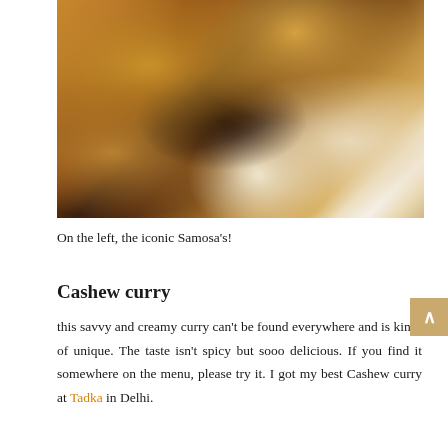[Figure (photo): Close-up photo of food including samosas on the left and what appears to be naan or flatbread on the right, on a dark plate or pan]
On the left, the iconic Samosa's!
Cashew curry
this savvy and creamy curry can't be found everywhere and is kind-of unique. The taste isn't spicy but sooo delicious. If you find it somewhere on the menu, please try it. I got my best Cashew curry at Tadka in Delhi.